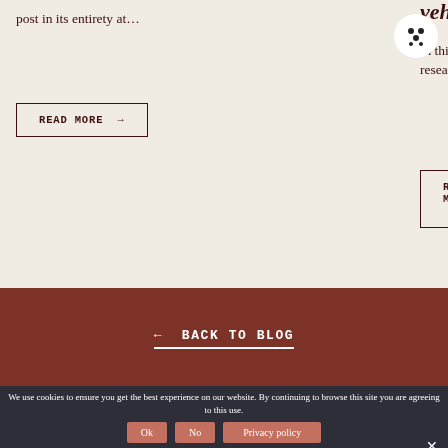post in its entirety at…
READ MORE →
vehicles
In this final post from our three-part research…
READ MORE →
← BACK TO BLOG
We use cookies to ensure you get the best experience on our website. By continuing to browse this site you are agreeing to this use.
Ok  No  Privacy policy